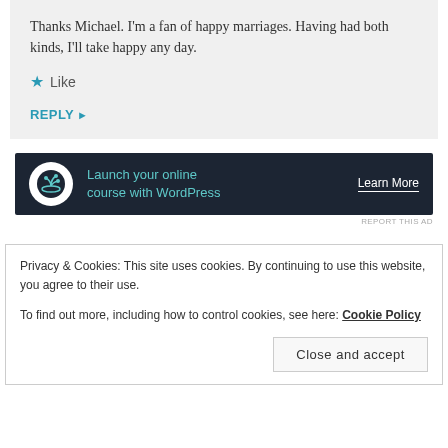Thanks Michael. I'm a fan of happy marriages. Having had both kinds, I'll take happy any day.
★ Like
REPLY ▶
[Figure (other): Dark advertisement banner: bonsai tree logo icon on white circle, teal text 'Launch your online course with WordPress', white 'Learn More' link with underline]
REPORT THIS AD
Privacy & Cookies: This site uses cookies. By continuing to use this website, you agree to their use.
To find out more, including how to control cookies, see here: Cookie Policy
Close and accept